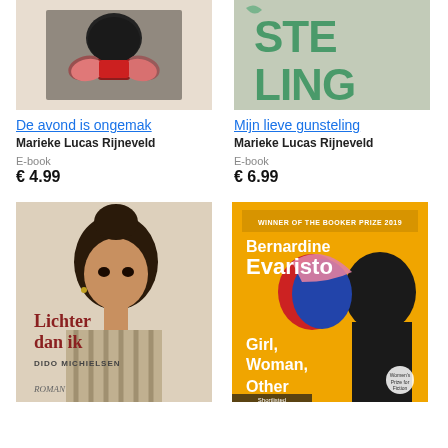[Figure (illustration): Book cover of 'De avond is ongemak' showing abstract hands and figure illustration]
De avond is ongemak
Marieke Lucas Rijneveld
E-book
€ 4.99
[Figure (illustration): Book cover of 'Mijn lieve gunsteling' with teal/green typography on grey background showing 'STE LING']
Mijn lieve gunsteling
Marieke Lucas Rijneveld
E-book
€ 6.99
[Figure (illustration): Book cover of 'Lichter dan ik' by Dido Michielsen showing a young woman portrait, Roman]
[Figure (illustration): Book cover of 'Girl, Woman, Other' by Bernardine Evaristo, Winner of the Booker Prize 2019, yellow background with silhouettes]